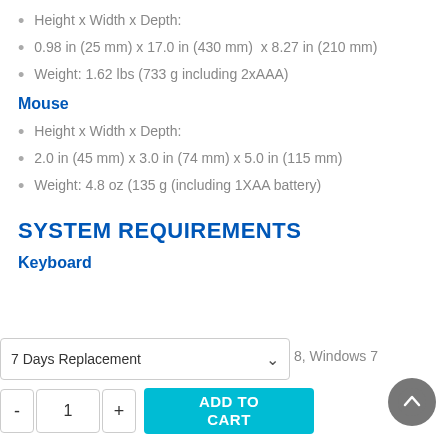Height x Width x Depth:
0.98 in (25 mm) x 17.0 in (430 mm)  x 8.27 in (210 mm)
Weight: 1.62 lbs (733 g including 2xAAA)
Mouse
Height x Width x Depth:
2.0 in (45 mm) x 3.0 in (74 mm) x 5.0 in (115 mm)
Weight: 4.8 oz (135 g (including 1XAA battery)
SYSTEM REQUIREMENTS
Keyboard
ws 8, Windows 7